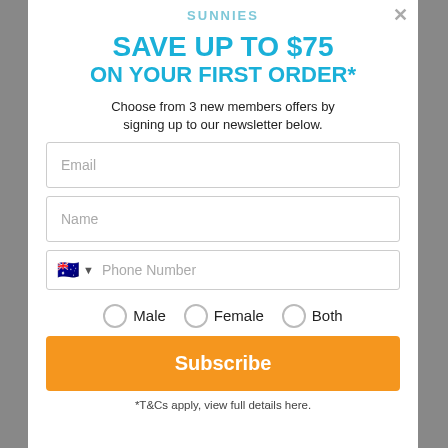SUNNIES
SAVE UP TO $75 ON YOUR FIRST ORDER*
Choose from 3 new members offers by signing up to our newsletter below.
Email
Name
Phone Number
Male  Female  Both
Subscribe
*T&Cs apply, view full details here.